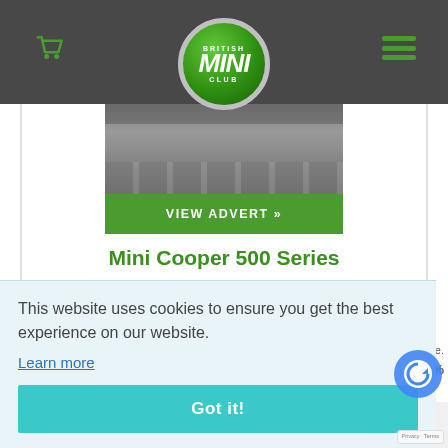British Mini Club – header bar with logo, cart and menu icons
[Figure (photo): Road/asphalt surface photo behind a VIEW ADVERT button]
VIEW ADVERT »
Mini Cooper 500 Series
This website uses cookies to ensure you get the best experience on our website.
Learn more
Got it!
n line.
98%